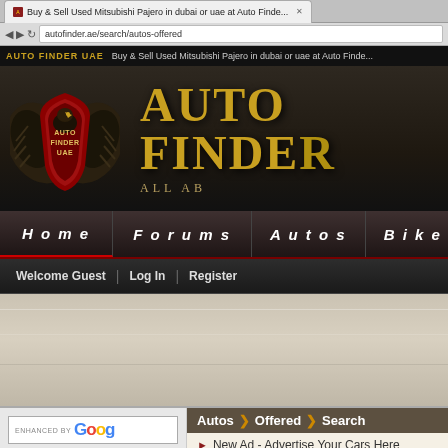AUTO FINDER UAE | Buy & Sell Used Mitsubishi Pajero in dubai or uae at Auto Finde...
[Figure (logo): Auto Finder UAE eagle and shield logo with gold AUTO FINDER UAE text]
AUTO FINDE...
ALL AB...
Home | Forums | Autos | Bikes | Rent A Ca...
Welcome Guest | Log In | Register
[Figure (photo): Large banner advertisement area with metallic grey background]
ENHANCED BY Goog
Autos > Offered > Search
New Ad - Advertise Your Cars Here
Get Started